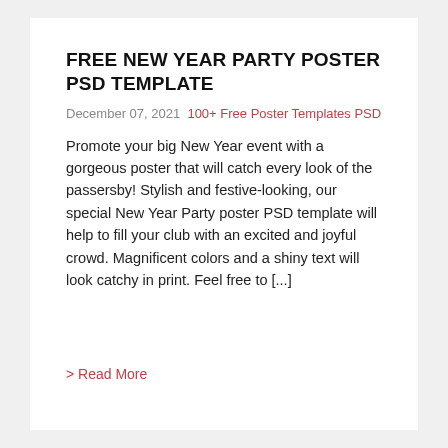FREE NEW YEAR PARTY POSTER PSD TEMPLATE
December 07, 2021  100+ Free Poster Templates PSD
Promote your big New Year event with a gorgeous poster that will catch every look of the passersby! Stylish and festive-looking, our special New Year Party poster PSD template will help to fill your club with an excited and joyful crowd. Magnificent colors and a shiny text will look catchy in print. Feel free to [...]
> Read More